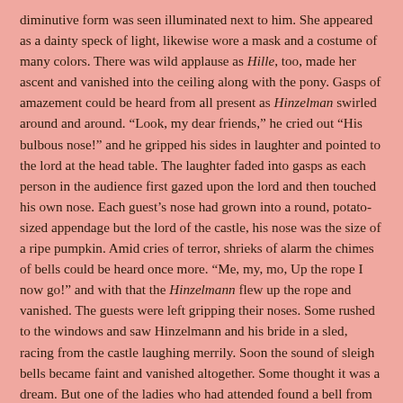diminutive form was seen illuminated next to him. She appeared as a dainty speck of light, likewise wore a mask and a costume of many colors. There was wild applause as Hille, too, made her ascent and vanished into the ceiling along with the pony. Gasps of amazement could be heard from all present as Hinzelman swirled around and around. “Look, my dear friends,” he cried out “His bulbous nose!” and he gripped his sides in laughter and pointed to the lord at the head table. The laughter faded into gasps as each person in the audience first gazed upon the lord and then touched his own nose. Each guest’s nose had grown into a round, potato-sized appendage but the lord of the castle, his nose was the size of a ripe pumpkin. Amid cries of terror, shrieks of alarm the chimes of bells could be heard once more. “Me, my, mo, Up the rope I now go!” and with that the Hinzelmann flew up the rope and vanished. The guests were left gripping their noses. Some rushed to the windows and saw Hinzelmann and his bride in a sled, racing from the castle laughing merrily. Soon the sound of sleigh bells became faint and vanished altogether. Some thought it was a dream. But one of the ladies who had attended found a bell from Hinzelman’s hat lying on the floor. She kept it and treasured it forever. And to this day the people who live near the Aller River all have rather bulbous noses.